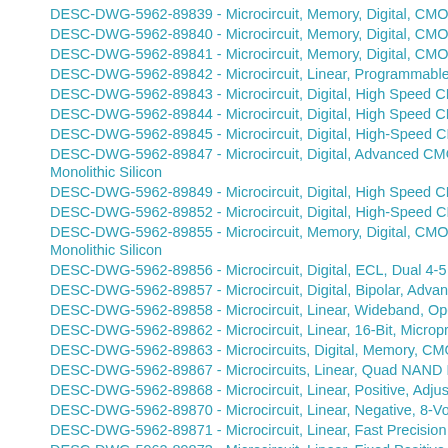DESC-DWG-5962-89839 - Microcircuit, Memory, Digital, CMOS, EE...
DESC-DWG-5962-89840 - Microcircuit, Memory, Digital, CMOS, EE...
DESC-DWG-5962-89841 - Microcircuit, Memory, Digital, CMOS, Pro...
DESC-DWG-5962-89842 - Microcircuit, Linear, Programmable Volta...
DESC-DWG-5962-89843 - Microcircuit, Digital, High Speed CMOS,...
DESC-DWG-5962-89844 - Microcircuit, Digital, High Speed CMOS,...
DESC-DWG-5962-89845 - Microcircuit, Digital, High-Speed CMOS,...
DESC-DWG-5962-89847 - Microcircuit, Digital, Advanced CMOS, O... Monolithic Silicon
DESC-DWG-5962-89849 - Microcircuit, Digital, High Speed CMOS,...
DESC-DWG-5962-89852 - Microcircuit, Digital, High-Speed CMOS,...
DESC-DWG-5962-89855 - Microcircuit, Memory, Digital, CMOS, One... Monolithic Silicon
DESC-DWG-5962-89856 - Microcircuit, Digital, ECL, Dual 4-5 Input...
DESC-DWG-5962-89857 - Microcircuit, Digital, Bipolar, Advanced S...
DESC-DWG-5962-89858 - Microcircuit, Linear, Wideband, Operatio...
DESC-DWG-5962-89862 - Microcircuit, Linear, 16-Bit, Microprocess...
DESC-DWG-5962-89863 - Microcircuits, Digital, Memory, CMOS Pa...
DESC-DWG-5962-89867 - Microcircuits, Linear, Quad NAND Relay...
DESC-DWG-5962-89868 - Microcircuit, Linear, Positive, Adjustable,...
DESC-DWG-5962-89870 - Microcircuit, Linear, Negative, 8-Volt Reg...
DESC-DWG-5962-89871 - Microcircuit, Linear, Fast Precision Comp...
DESC-DWG-5962-89873 - Microcircuit, Linear, Fixed Positive 5 Volt,...
DESC-DWG-5962-89875 - Microcircuit, Linear, Fast Produ...